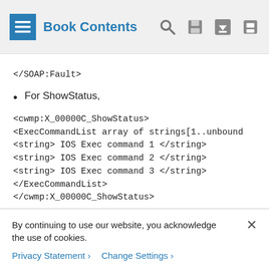Book Contents
</SOAP:Fault>
For ShowStatus,
<cwmp:X_00000C_ShowStatus>
<ExecCommandList array of strings[1..unbound
<string> IOS Exec command 1 </string>
<string> IOS Exec command 2 </string>
<string> IOS Exec command 3 </string>
</ExecCommandList>
</cwmp:X_00000C_ShowStatus>
On success
By continuing to use our website, you acknowledge the use of cookies.
Privacy Statement > Change Settings >